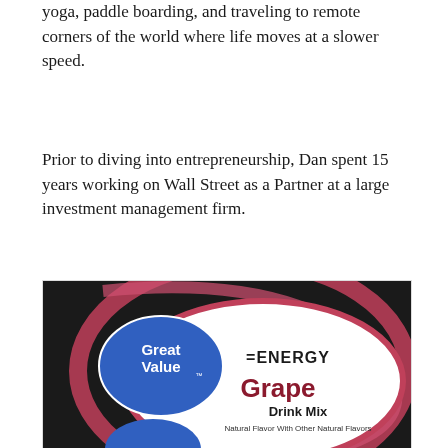yoga, paddle boarding, and traveling to remote corners of the world where life moves at a slower speed.
Prior to diving into entrepreneurship, Dan spent 15 years working on Wall Street as a Partner at a large investment management firm.
[Figure (photo): Photo of a Great Value ENERGY Grape Drink Mix packet/box. The packaging is black with a large oval label showing 'Great Value' on a blue oval badge, '=ENERGY' in bold black text, 'Grape' in large dark red text, 'Drink Mix' in bold, and 'Natural Flavor With Other Natural Flavors' in smaller text. There are pink/red curved swoosh design elements.]